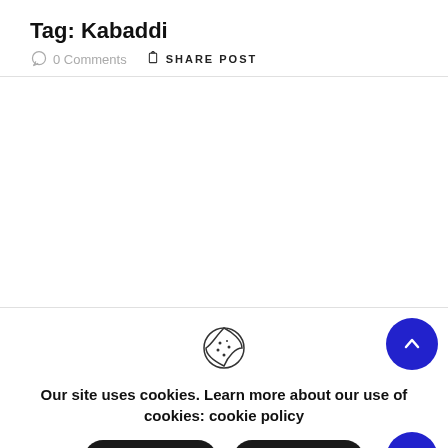Tag: Kabaddi
0 Comments   SHARE POST
Our site uses cookies. Learn more about our use of cookies: cookie policy
ACCEPT   REJECT